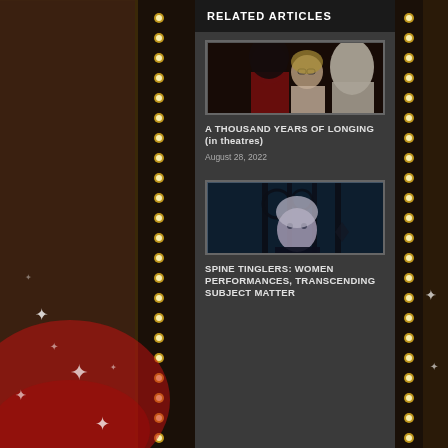RELATED ARTICLES
[Figure (photo): Movie still from A Thousand Years of Longing showing two people facing someone off-screen]
A THOUSAND YEARS OF LONGING (in theatres)
August 28, 2022
[Figure (photo): Movie still with a person looking through ornate iron gate bars]
SPINE TINGLERS: WOMEN PERFORMANCES, TRANSCENDING SUBJECT MATTER